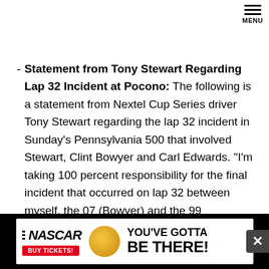MENU
Statement from Tony Stewart Regarding Lap 32 Incident at Pocono: The following is a statement from Nextel Cup Series driver Tony Stewart regarding the lap 32 incident in Sunday's Pennsylvania 500 that involved Stewart, Clint Bowyer and Carl Edwards. "I'm taking 100 percent responsibility for the final incident that occurred on lap 32 between myself, the 07 (Bowyer) and the 99 (Edwards). It was totally my fault. At the same time, there were circumstances that led up to that wreck, and after talking with Clint this morning, we both have a better understanding as to what happened. He was
[Figure (other): NASCAR advertisement banner: NASCAR logo with stripes, BUY TICKETS button, car image, and text YOU'VE GOTTA BE THERE!]